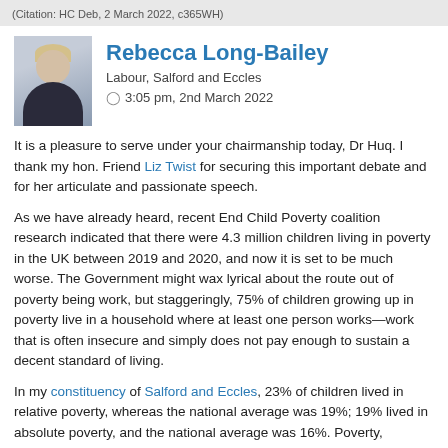(Citation: HC Deb, 2 March 2022, c365WH)
Rebecca Long-Bailey
Labour, Salford and Eccles
3:05 pm, 2nd March 2022
It is a pleasure to serve under your chairmanship today, Dr Huq. I thank my hon. Friend Liz Twist for securing this important debate and for her articulate and passionate speech.
As we have already heard, recent End Child Poverty coalition research indicated that there were 4.3 million children living in poverty in the UK between 2019 and 2020, and now it is set to be much worse. The Government might wax lyrical about the route out of poverty being work, but staggeringly, 75% of children growing up in poverty live in a household where at least one person works—work that is often insecure and simply does not pay enough to sustain a decent standard of living.
In my constituency of Salford and Eccles, 23% of children lived in relative poverty, whereas the national average was 19%; 19% lived in absolute poverty, and the national average was 16%. Poverty, whatever we call it, relative or absolute, is still poverty, and 42% of children in Salford and Eccles live in poverty. In one of the richest economies in the